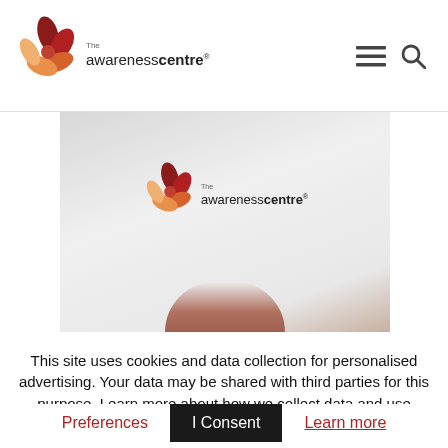The Awareness Centre — navigation header with logo, hamburger menu, and search icon
[Figure (photo): Hero image showing The Awareness Centre logo (flower graphic with text) on a light grey gradient background, with a hand visible at the bottom edge]
This site uses cookies and data collection for personalised advertising. Your data may be shared with third parties for this purpose. Learn more about how we collect data and use cookies, and check that you consent. Manage
Preferences
I Consent
Learn more